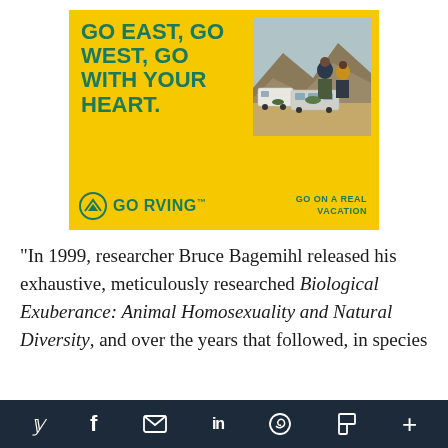[Figure (illustration): Go RVing advertisement on yellow background. Bold teal headline reads 'GO EAST, GO WEST, GO WITH YOUR HEART.' with a photo of two people standing in a desert landscape with RV trailers. Bottom bar shows Go RVing logo and 'GO ON A REAL VACATION' tagline.]
“In 1999, researcher Bruce Bagemihl released his exhaustive, meticulously researched Biological Exuberance: Animal Homosexuality and Natural Diversity, and over the years that followed, in species
Social sharing icons: Twitter, Facebook, Email, LinkedIn, WhatsApp, Flipboard, More